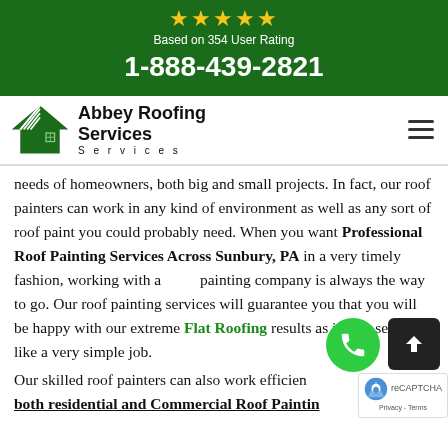[Figure (infographic): Green banner with 5 gold stars, user rating text, and phone number 1-888-439-2821]
[Figure (logo): Abbey Roofing Services logo with green house/roof icon and company name]
needs of homeowners, both big and small projects. In fact, our roof painters can work in any kind of environment as well as any sort of roof paint you could probably need. When you want Professional Roof Painting Services Across Sunbury, PA in a very timely fashion, working with a painting company is always the way to go. Our roof painting services will guarantee you that you will be happy with our extreme Flat Roofing results as it may seem like a very simple job.
Our skilled roof painters can also work efficiently both residential and Commercial Roof Painting